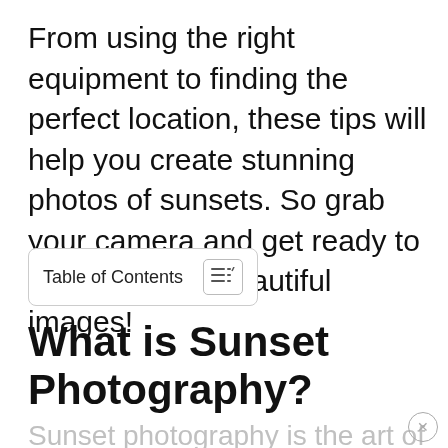From using the right equipment to finding the perfect location, these tips will help you create stunning photos of sunsets. So grab your camera and get ready to capture some beautiful images!
Table of Contents
What is Sunset Photography?
Sunset photography is the art of